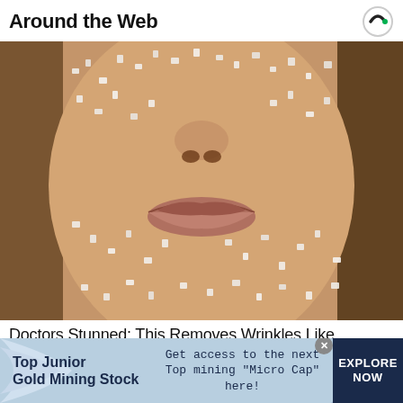Around the Web
[Figure (photo): Close-up photo of a person's lower face covered in salt crystals or sugar granules, showing nose and lips prominently.]
Doctors Stunned: This Removes Wrinkles Like
[Figure (infographic): Advertisement banner for Top Junior Gold Mining Stock. Text: 'Top Junior Gold Mining Stock' on the left, 'Get access to the next Top mining "Micro Cap" here!' in the center, 'EXPLORE NOW' button on the right.]